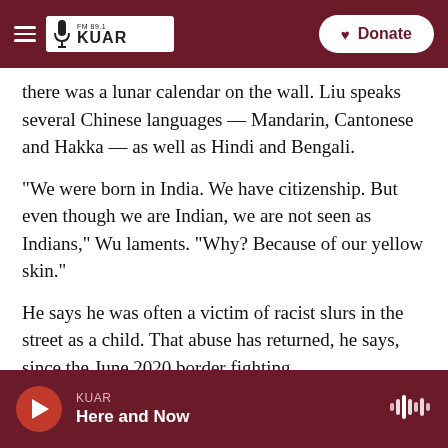FM 89.1 KUAR | npr | Donate
there was a lunar calendar on the wall. Liu speaks several Chinese languages — Mandarin, Cantonese and Hakka — as well as Hindi and Bengali.
"We were born in India. We have citizenship. But even though we are Indian, we are not seen as Indians," Wu laments. "Why? Because of our yellow skin."
He says he was often a victim of racist slurs in the street as a child. That abuse has returned, he says, since the June 2020 border fighting.
KUAR Here and Now